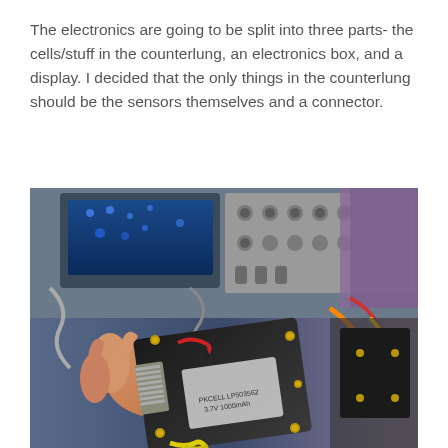The electronics are going to be split into three parts- the cells/stuff in the counterlung, an electronics box, and a display. I decided that the only things in the counterlung should be the sensors themselves and a connector.
[Figure (photo): A hand holding a black rectangular electronics enclosure/box with gold-colored screws/standoffs at the corners, containing visible wiring (red and black wires) and what appears to be a battery or PCB. In the background is a workbench with an oscilloscope screen (blue display), various tools, cables, and electronic components.]